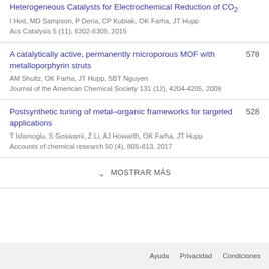Heterogeneous Catalysts for Electrochemical Reduction of CO2
I Hod, MD Sampson, P Deria, CP Kubiak, OK Farha, JT Hupp
Acs Catalysis 5 (11), 6302-6309, 2015
A catalytically active, permanently microporous MOF with metalloporphyrin struts
AM Shultz, OK Farha, JT Hupp, SBT Nguyen
Journal of the American Chemical Society 131 (12), 4204-4205, 2009
Postsynthetic tuning of metal–organic frameworks for targeted applications
T Islamoglu, S Goswami, Z Li, AJ Howarth, OK Farha, JT Hupp
Accounts of chemical research 50 (4), 805-813, 2017
MOSTRAR MÁS
Ayuda   Privacidad   Condiciones